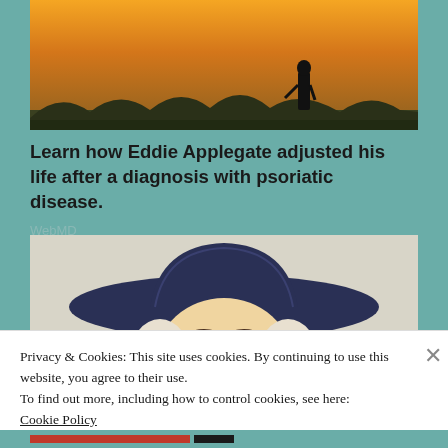[Figure (photo): Silhouette of a person standing on a hill at sunset with orange sky and dark vegetation]
Learn how Eddie Applegate adjusted his life after a diagnosis with psoriatic disease.
WebMD
[Figure (illustration): Illustrated character resembling Quaker Oats man wearing a large dark blue cowboy hat with white hair and smiling eyes]
Privacy & Cookies: This site uses cookies. By continuing to use this website, you agree to their use.
To find out more, including how to control cookies, see here:
Cookie Policy
Close and accept